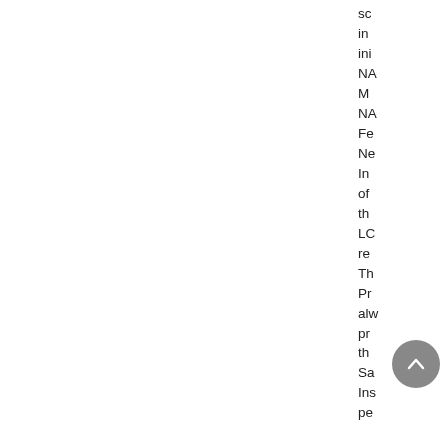sc in ini NA M NA Fe Ne In of th LC re Th Pr alw pr th Sa Ins pe